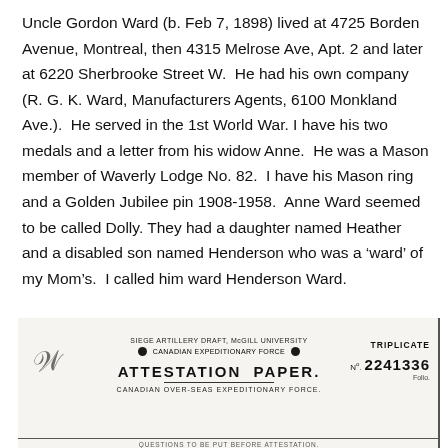Uncle Gordon Ward (b. Feb 7, 1898) lived at 4725 Borden Avenue, Montreal, then 4315 Melrose Ave, Apt. 2 and later at 6220 Sherbrooke Street W.  He had his own company (R. G. K. Ward, Manufacturers Agents, 6100 Monkland Ave.).  He served in the 1st World War. I have his two medals and a letter from his widow Anne.  He was a Mason member of Waverly Lodge No. 82.  I have his Mason ring and a Golden Jubilee pin 1908-1958.  Anne Ward seemed to be called Dolly. They had a daughter named Heather and a disabled son named Henderson who was a ‘ward’ of my Mom’s.  I called him ward Henderson Ward.
[Figure (other): Scanned image of a Attestation Paper form for Siege Artillery Draft, McGill University, Canadian Expeditionary Force. Shows 'ATTESTATION PAPER.' title, 'CANADIAN OVER-SEAS EXPEDITIONARY FORCE.' subtitle, No. 2241336, Folio, and TRIPLICATE marking. Partial signature visible at left.]